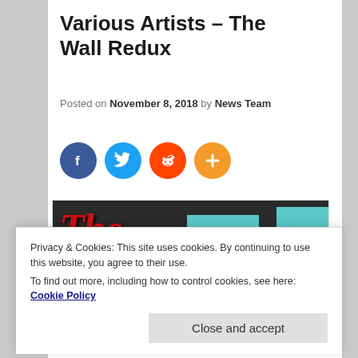Various Artists – The Wall Redux
Posted on November 8, 2018 by News Team
[Figure (illustration): Social sharing icons: Facebook (blue circle with f), Twitter (light blue circle with bird), Reddit (orange circle with alien mascot), Plus/share (orange circle with plus sign)]
[Figure (photo): Album artwork for The Wall Redux — dark background with red graffiti-style 'The Wall' text on left, teal/cyan rectangular blocks scattered across the image]
Privacy & Cookies: This site uses cookies. By continuing to use this website, you agree to their use.
To find out more, including how to control cookies, see here: Cookie Policy
Close and accept